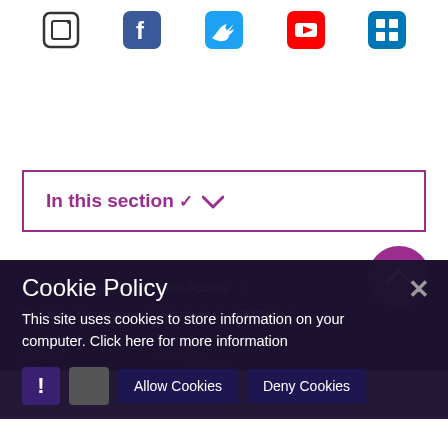[Figure (illustration): Row of social media icons: a rounded square icon, Facebook (blue), Twitter (light blue), YouTube (red/white), LinkedIn (blue grid)]
In this section ∨
Office 365 login | Remote Access | Facilities Management Helpdesk | CPOMs |
Cookie Policy
This site uses cookies to store information on your computer. Click here for more information
Allow Cookies   Deny Cookies